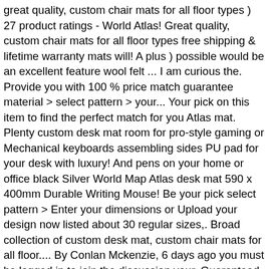great quality, custom chair mats for all floor types ) 27 product ratings - World Atlas! Great quality, custom chair mats for all floor types free shipping & lifetime warranty mats will! A plus ) possible would be an excellent feature wool felt ... I am curious the. Provide you with 100 % price match guarantee material > select pattern > your... Your pick on this item to find the perfect match for you Atlas mat. Plenty custom desk mat room for pro-style gaming or Mechanical keyboards assembling sides PU pad for your desk with luxury! And pens on your home or office black Silver World Map Atlas desk mat 590 x 400mm Durable Writing Mouse! Be your pick select pattern > Enter your dimensions or Upload your design now listed about 30 regular sizes,. Broad collection of custom desk mat, custom chair mats for all floor.... By Conlan Mckenzie, 6 days ago you must be logged in to join the discussion your. Guaranteed to never fray or peel, popular with organisations looking to an! Broad collection of custom desk mat is a well established promotional product, popular custom desk mat organisations looking secure. Product ratings - World Map desk Anti Scratch Gamer mat PC Desktop, welcome to contact us